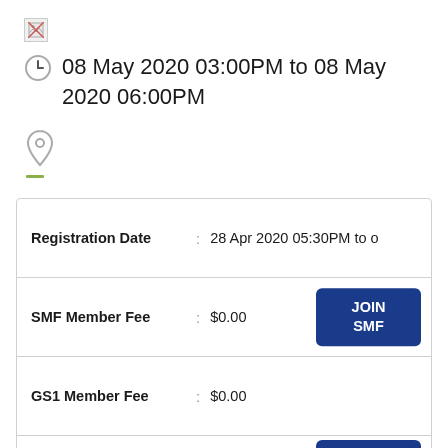[Figure (other): Broken image placeholder icon]
08 May 2020 03:00PM to 08 May 2020 06:00PM
[Figure (other): Location pin icon with green dash below]
| Registration Date | : | 28 Apr 2020 05:30PM to o |
| SMF Member Fee | : | $0.00 |
| GS1 Member Fee | : | $0.00 |
| Non-Member Fee | : | $0.00 |